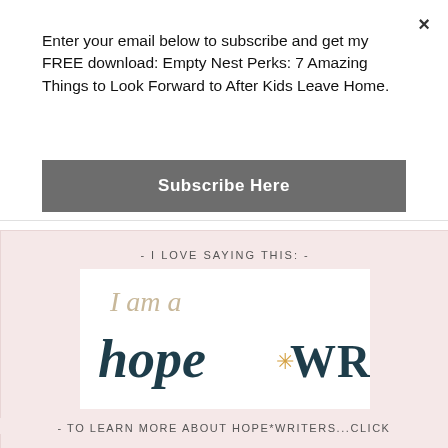Enter your email below to subscribe and get my FREE download: Empty Nest Perks: 7 Amazing Things to Look Forward to After Kids Leave Home.
Subscribe Here
- I LOVE SAYING THIS: -
[Figure (illustration): Hand-lettered badge reading 'I am a hope*WRITER' in dark teal and tan colors with a gold asterisk star]
- TO LEARN MORE ABOUT HOPE*WRITERS...CLICK